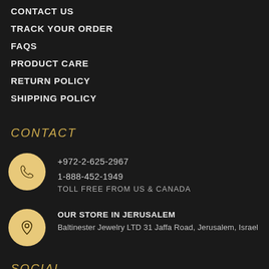CONTACT US
TRACK YOUR ORDER
FAQS
PRODUCT CARE
RETURN POLICY
SHIPPING POLICY
CONTACT
+972-2-625-2967
1-888-452-1949
TOLL FREE FROM US & CANADA
OUR STORE IN JERUSALEM
Baltinester Jewelry LTD 31 Jaffa Road, Jerusalem, Israel
SOCIAL